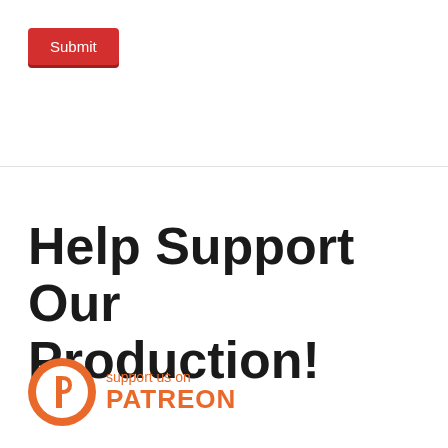[Figure (other): Red Submit button with white text and drop shadow]
Help Support Our Production!
[Figure (logo): Patreon logo with circular P icon and 'support us on PATREON' text in orange]